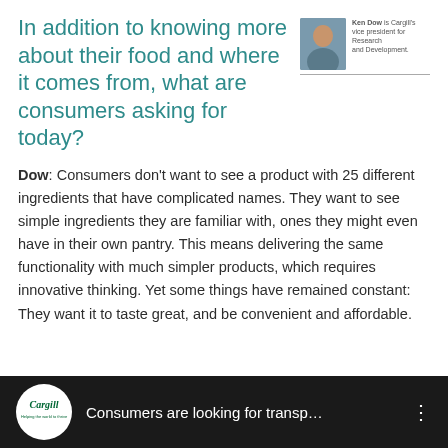In addition to knowing more about their food and where it comes from, what are consumers asking for today?
[Figure (photo): Headshot photo of Ken Dow, Cargill's Vice President for Research and Development, with a caption identifying his role.]
Dow: Consumers don't want to see a product with 25 different ingredients that have complicated names. They want to see simple ingredients they are familiar with, ones they might even have in their own pantry. This means delivering the same functionality with much simpler products, which requires innovative thinking. Yet some things have remained constant: They want it to taste great, and be convenient and affordable.
[Figure (screenshot): A dark video bar showing the Cargill logo (white circle with Cargill brand mark) and partial video title 'Consumers are looking for transp...' with a vertical three-dot menu icon on the right.]